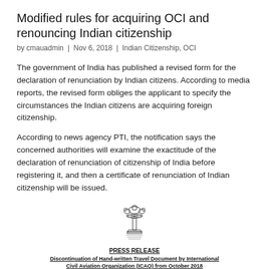Modified rules for acquiring OCI and renouncing Indian citizenship
by cmauadmin  |  Nov 6, 2018  |  Indian Citizenship, OCI
The government of India has published a revised form for the declaration of renunciation by Indian citizens. According to media reports, the revised form obliges the applicant to specify the circumstances the Indian citizens are acquiring foreign citizenship.
According to news agency PTI, the notification says the concerned authorities will examine the exactitude of the declaration of renunciation of citizenship of India before registering it, and then a certificate of renunciation of Indian citizenship will be issued.
[Figure (logo): Indian government emblem (Ashoka Pillar) used on a press release document]
PRESS RELEASE
Discontinuation of Hand-written Travel Document by International Civil Aviation Organization (ICAO) from October 2018